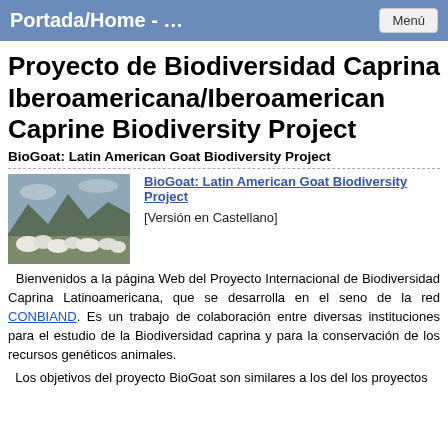Portada/Home - …   Menú
Proyecto de Biodiversidad Caprina Iberoamericana/Iberoamerican Caprine Biodiversity Project
BioGoat: Latin American Goat Biodiversity Project
[Figure (photo): A herd of white goats in a mountainous landscape]
BioGoat: Latin American Goat Biodiversity Project
[Versión en Castellano]
Bienvenidos a la página Web del Proyecto Internacional de Biodiversidad Caprina Latinoamericana, que se desarrolla en el seno de la red CONBIAND. Es un trabajo de colaboración entre diversas instituciones para el estudio de la Biodiversidad caprina y para la conservación de los recursos genéticos animales.
Los objetivos del proyecto BioGoat son similares a los del los proyectos